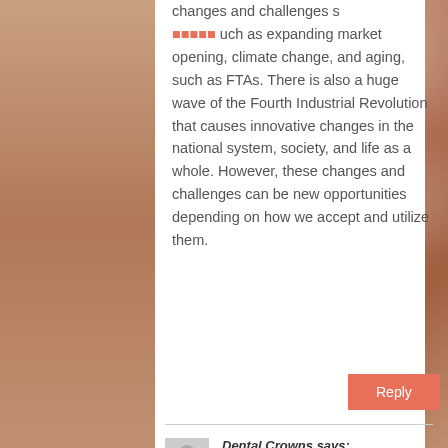changes and challenges s ■■■■■ uch as expanding market opening, climate change, and aging, such as FTAs. There is also a huge wave of the Fourth Industrial Revolution that causes innovative changes in the national system, society, and life as a whole. However, these changes and challenges can be new opportunities depending on how we accept and utilize them.
Reply
Dental Crowns says:
January 20, 2022 at 7:09 am